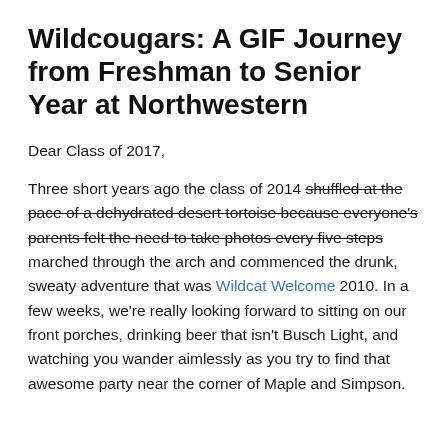Wildcougars: A GIF Journey from Freshman to Senior Year at Northwestern
Dear Class of 2017,
Three short years ago the class of 2014 shuffled at the pace of a dehydrated desert tortoise because everyone's parents felt the need to take photos every five steps marched through the arch and commenced the drunk, sweaty adventure that was Wildcat Welcome 2010. In a few weeks, we're really looking forward to sitting on our front porches, drinking beer that isn't Busch Light, and watching you wander aimlessly as you try to find that awesome party near the corner of Maple and Simpson.